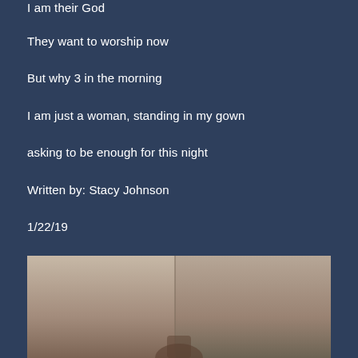I am their God
They want to worship now
But why 3 in the morning
I am just a woman, standing in my gown
asking to be enough for this night
Written by: Stacy Johnson
1/22/19
[Figure (photo): A photograph of a person standing in a room, partially visible at the bottom of the page. The image shows a dimly lit interior space.]